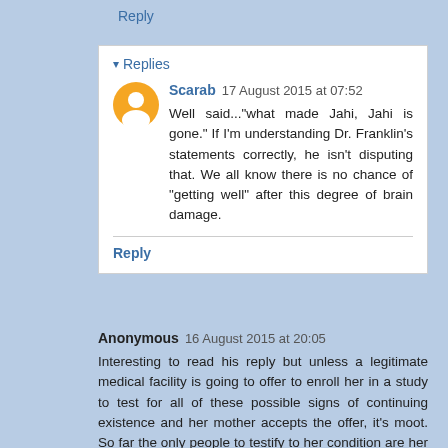Reply
▾ Replies
Scarab  17 August 2015 at 07:52
Well said..."what made Jahi, Jahi is gone." If I'm understanding Dr. Franklin's statements correctly, he isn't disputing that. We all know there is no chance of "getting well" after this degree of brain damage.
Reply
Anonymous  16 August 2015 at 20:05
Interesting to read his reply but unless a legitimate medical facility is going to offer to enroll her in a study to test for all of these possible signs of continuing existence and her mother accepts the offer, it's moot. So far the only people to testify to her condition are her family (none of whom are